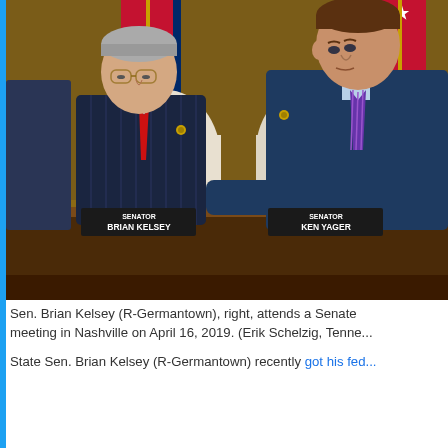[Figure (photo): Two men in suits seated at a legislative hearing table. Name placards visible: Senator Brian Kelsey (left) and Senator Ken Yager (right). An American flag and a state flag visible in the background. The man on the right, identified as Sen. Brian Kelsey, wears a blue suit and purple striped tie, leaning forward.]
Sen. Brian Kelsey (R-Germantown), right, attends a Senate meeting in Nashville on April 16, 2019. (Erik Schelzig, Tenne...
State Sen. Brian Kelsey (R-Germantown) recently got his fed...